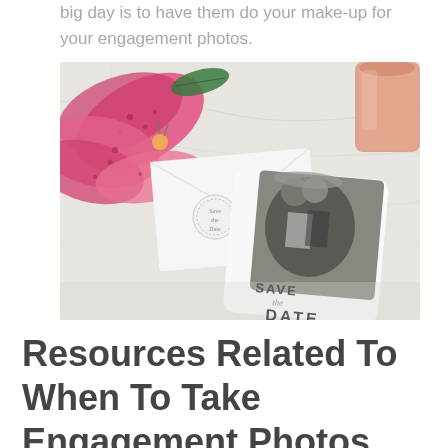big day is to have them do your make-up for your engagement photos.
[Figure (photo): A styled flat-lay photograph showing a 'Save the Date' card featuring a couple kissing under an umbrella, placed next to a white envelope with a circular wax seal, pink stargazer lilies, and a glass of rosé wine on a marble surface.]
Resources Related To When To Take Engagement Photos